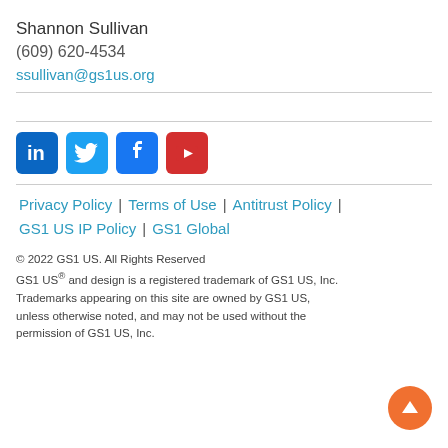Shannon Sullivan
(609) 620-4534
ssullivan@gs1us.org
[Figure (infographic): Social media icons: LinkedIn (blue), Twitter (light blue), Facebook (blue), YouTube (red)]
Privacy Policy | Terms of Use | Antitrust Policy | GS1 US IP Policy | GS1 Global
© 2022 GS1 US. All Rights Reserved
GS1 US® and design is a registered trademark of GS1 US, Inc.
Trademarks appearing on this site are owned by GS1 US, unless otherwise noted, and may not be used without the permission of GS1 US, Inc.